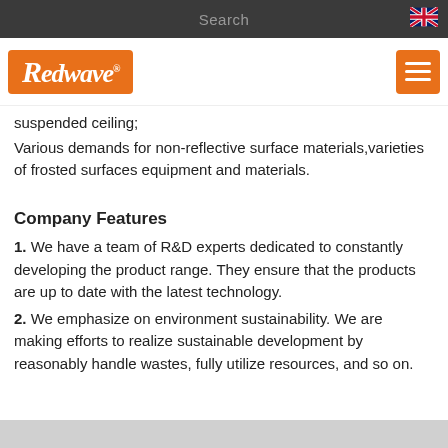Search
[Figure (logo): Redwave company logo on orange background]
suspended ceiling;
Various demands for non-reflective surface materials,varieties of frosted surfaces equipment and materials.
Company Features
1. We have a team of R&D experts dedicated to constantly developing the product range. They ensure that the products are up to date with the latest technology.
2. We emphasize on environment sustainability. We are making efforts to realize sustainable development by reasonably handle wastes, fully utilize resources, and so on.